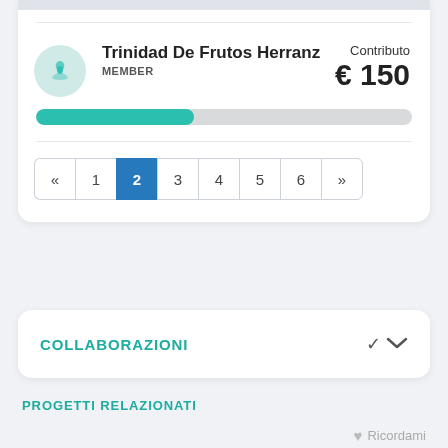Trinidad De Frutos Herranz
MEMBER
Contributo € 150
[Figure (other): Teal/turquoise progress bar approximately 42% filled]
« 1 2 3 4 5 6 »
COLLABORAZIONI
PROGETTI RELAZIONATI
Ricordami